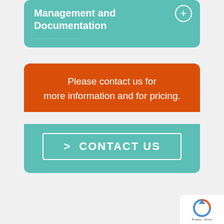Management and Documentation
Please contact us for more information and for pricing.
> CONTACT US
[Figure (logo): reCAPTCHA logo with Privacy and Terms text]